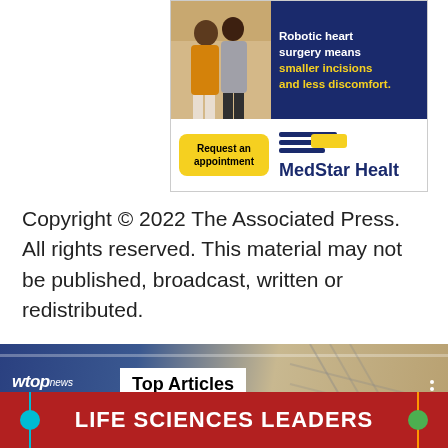[Figure (other): MedStar Health advertisement showing two older adults walking, with text 'Robotic heart surgery means smaller incisions and less discomfort.' in a navy box, a yellow 'Request an appointment' button, and the MedStar Health logo.]
Copyright © 2022 The Associated Press. All rights reserved. This material may not be published, broadcast, written or redistributed.
[Figure (screenshot): WTOP News banner with a tennis player photo background, showing the WTOP news logo and a 'Top Articles' label box, plus three-dot menu and X close button.]
[Figure (other): Life Sciences Leaders advertisement banner with teal and orange/green vertical lines and circles on a dark red background.]